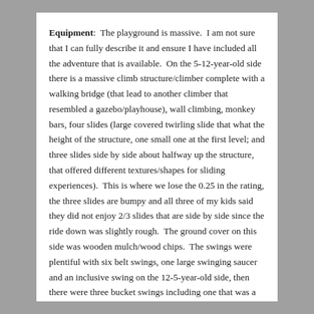Equipment:  The playground is massive.  I am not sure that I can fully describe it and ensure I have included all the adventure that is available.  On the 5-12-year-old side there is a massive climb structure/climber complete with a walking bridge (that lead to another climber that resembled a gazebo/playhouse), wall climbing, monkey bars, four slides (large covered twirling slide that what the height of the structure, one small one at the first level; and three slides side by side about halfway up the structure, that offered different textures/shapes for sliding experiences).  This is where we lose the 0.25 in the rating, the three slides are bumpy and all three of my kids said they did not enjoy 2/3 slides that are side by side since the ride down was slightly rough.  The ground cover on this side was wooden mulch/wood chips.  The swings were plentiful with six belt swings, one large swinging saucer and an inclusive swing on the 12-5-year-old side, then there were three bucket swings including one that was a parent-child swing on the 3-5-year-old side.
The 3-5-year-old side had a mini merry-go-round, and